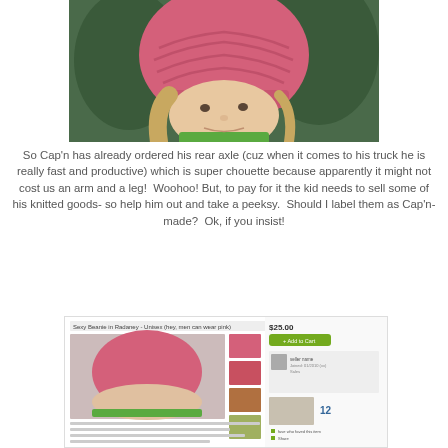[Figure (photo): Close-up photo of a woman wearing a chunky pink knitted beanie hat, with blonde hair and a green collar visible, trees in background.]
So Cap'n has already ordered his rear axle (cuz when it comes to his truck he is really fast and productive) which is super chouette because apparently it might not cost us an arm and a leg!  Woohoo! But, to pay for it the kid needs to sell some of his knitted goods- so help him out and take a peeksy.  Should I label them as Cap'n-made?  Ok, if you insist!
[Figure (screenshot): Screenshot of an Etsy or similar online shop listing showing the same pink beanie hat for sale at $25.00, with thumbnail images on the right, seller information, and product description text.]